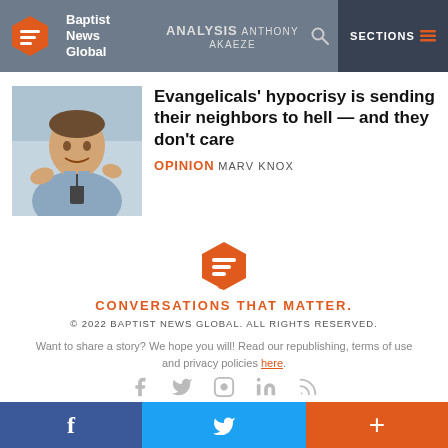Baptist News Global | ANALYSIS ANTHONY AKAEZE | SECTIONS
[Figure (photo): Smiling man in blue shirt and tie gesturing with hands]
Evangelicals' hypocrisy is sending their neighbors to hell — and they don't care
OPINION MARV KNOX
[Figure (logo): Baptist News Global orange hexagon speech bubble logo]
CONVERSATIONS THAT MATTER.
© 2022 BAPTIST NEWS GLOBAL. ALL RIGHTS RESERVED.
Want to share a story? We hope you will! Read our republishing, terms of use and privacy policies here.
Social share bar: Facebook, Twitter, +